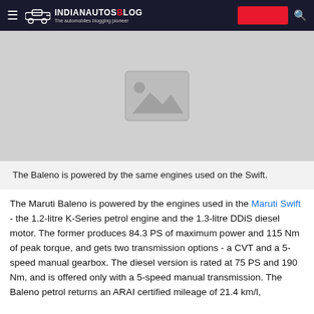IndianAutosBlog – The automobiles blogging pioneer
[Figure (photo): Placeholder image with mountain/landscape icon on grey background]
The Baleno is powered by the same engines used on the Swift.
The Maruti Baleno is powered by the engines used in the Maruti Swift - the 1.2-litre K-Series petrol engine and the 1.3-litre DDiS diesel motor. The former produces 84.3 PS of maximum power and 115 Nm of peak torque, and gets two transmission options - a CVT and a 5-speed manual gearbox. The diesel version is rated at 75 PS and 190 Nm, and is offered only with a 5-speed manual transmission. The Baleno petrol returns an ARAI certified mileage of 21.4 km/l,